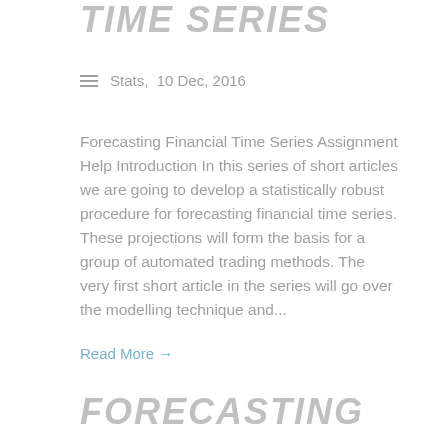TIME SERIES
Stats,  10 Dec, 2016
Forecasting Financial Time Series Assignment Help Introduction In this series of short articles we are going to develop a statistically robust procedure for forecasting financial time series. These projections will form the basis for a group of automated trading methods. The very first short article in the series will go over the modelling technique and...
Read More →
FORECASTING